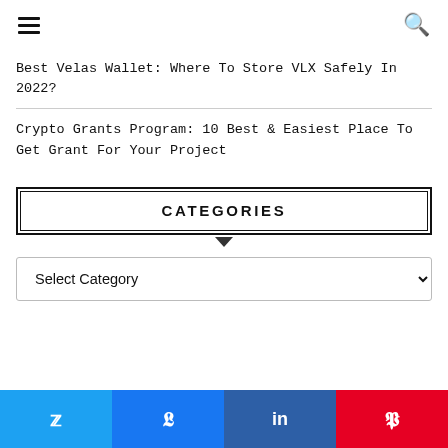☰  🔍
Best Velas Wallet: Where To Store VLX Safely In 2022?
Crypto Grants Program: 10 Best & Easiest Place To Get Grant For Your Project
CATEGORIES
Select Category
Twitter | Facebook | LinkedIn | Pinterest social share buttons